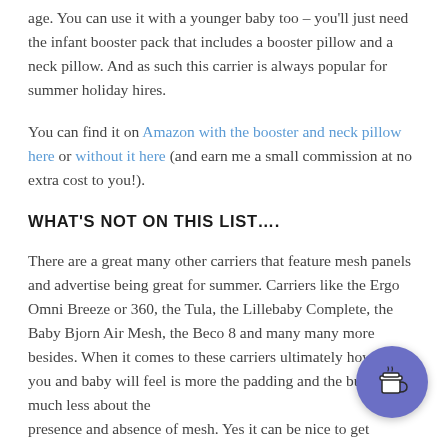age. You can use it with a younger baby too – you'll just need the infant booster pack that includes a booster pillow and a neck pillow. And as such this carrier is always popular for summer holiday hires.
You can find it on Amazon with the booster and neck pillow here or without it here (and earn me a small commission at no extra cost to you!).
WHAT'S NOT ON THIS LIST….
There are a great many other carriers that feature mesh panels and advertise being great for summer. Carriers like the Ergo Omni Breeze or 360, the Tula, the Lillebaby Complete, the Baby Bjorn Air Mesh, the Beco 8 and many many more besides. When it comes to these carriers ultimately how warm you and baby will feel is more the padding and the bulk and much less about the presence and absence of mesh. Yes it can be nice to get